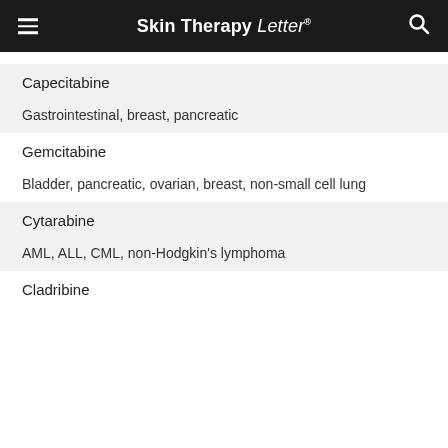Skin Therapy Letter
Capecitabine
Gastrointestinal, breast, pancreatic
Gemcitabine
Bladder, pancreatic, ovarian, breast, non-small cell lung
Cytarabine
AML, ALL, CML, non-Hodgkin's lymphoma
Cladribine